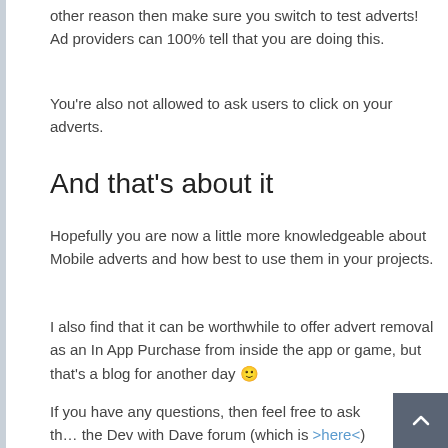other reason then make sure you switch to test adverts! Ad providers can 100% tell that you are doing this.
You're also not allowed to ask users to click on your adverts.
And that's about it
Hopefully you are now a little more knowledgeable about Mobile adverts and how best to use them in your projects.
I also find that it can be worthwhile to offer advert removal as an In App Purchase from inside the app or game, but that's a blog for another day 🙂
If you have any questions, then feel free to ask th… the Dev with Dave forum (which is >here<)